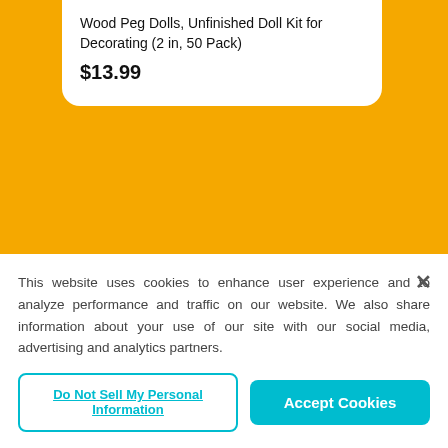Wood Peg Dolls, Unfinished Doll Kit for Decorating (2 in, 50 Pack)
$13.99
[Figure (photo): White unfinished wooden balls/spheres arranged in rows, viewed from front]
This website uses cookies to enhance user experience and to analyze performance and traffic on our website. We also share information about your use of our site with our social media, advertising and analytics partners.
Do Not Sell My Personal Information
Accept Cookies